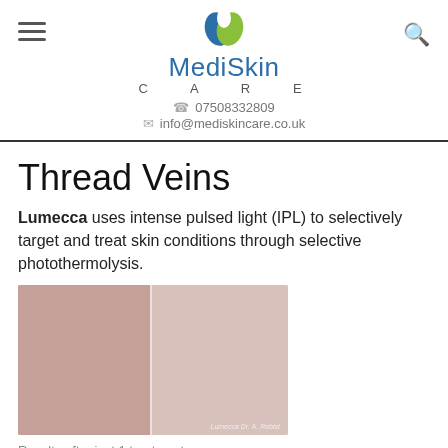MediSkin CARE | 07508332809 | info@mediskincare.co.uk
Thread Veins
Lumecca uses intense pulsed light (IPL) to selectively target and treat skin conditions through selective photothermolysis.
[Figure (photo): Before and after comparison photo showing facial skin with thread veins - left side shows skin with visible redness and veins, right side shows clearer skin after treatment. Labelled 'Lumecca Dr. A. Rebist']
Results after just 1 treatment
Optimized for light and dark skin